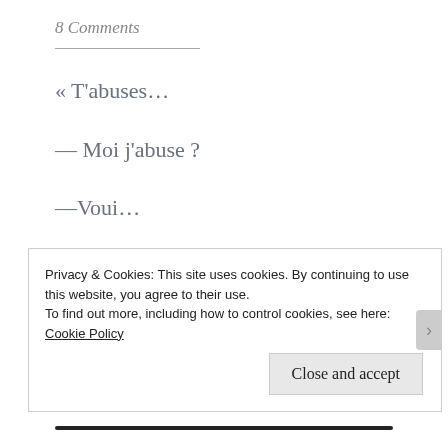8 Comments
« T'abuses...
— Moi j'abuse ?
—Voui...
—Et en quoi, s'il te plait ?
Privacy & Cookies: This site uses cookies. By continuing to use this website, you agree to their use.
To find out more, including how to control cookies, see here: Cookie Policy
Close and accept